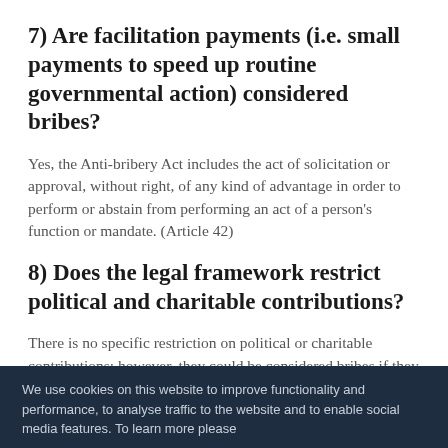7) Are facilitation payments (i.e. small payments to speed up routine governmental action) considered bribes?
Yes, the Anti-bribery Act includes the act of solicitation or approval, without right, of any kind of advantage in order to perform or abstain from performing an act of a person's function or mandate. (Article 42)
8) Does the legal framework restrict political and charitable contributions?
There is no specific restriction on political or charitable contributions; however, they could be considered bribes if they are performed to any of the prohibited ends.
We use cookies on this website to improve functionality and performance, to analyse traffic to the website and to enable social media features. To learn more please